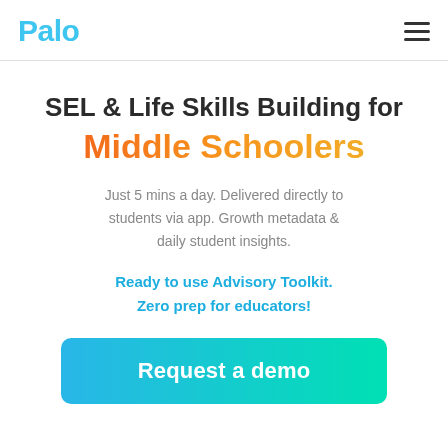Palo
SEL & Life Skills Building for Middle Schoolers
Just 5 mins a day. Delivered directly to students via app. Growth metadata & daily student insights.
Ready to use Advisory Toolkit. Zero prep for educators!
Request a demo